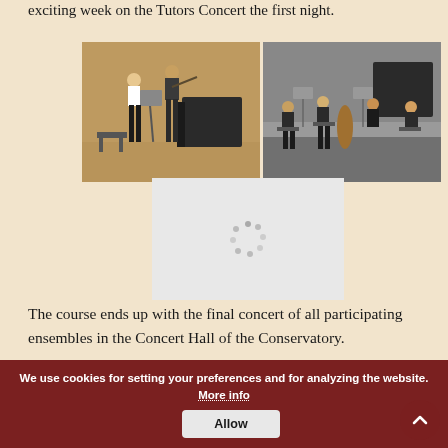exciting week on the Tutors Concert the first night.
[Figure (photo): Two musicians performing on stage — a woman with music stand and a man playing violin, in a wood-paneled concert hall with a grand piano in background.]
[Figure (photo): A string quartet performing seated in a concert hall with a grand piano visible in the background.]
[Figure (photo): Loading spinner placeholder image (gray box with dots in circle pattern).]
The course ends up with the final concert of all participating ensembles in the Concert Hall of the Conservatory.
[Figure (photo): Loading spinner placeholder image (gray box with dots).]
[Figure (photo): Loading spinner placeholder image (gray box with dots).]
We use cookies for setting your preferences and for analyzing the website. More info  Allow